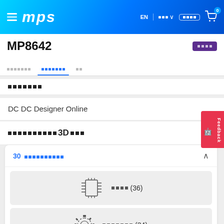MPS — MP8642 product page header navigation
MP8642
□□□□□□□ (tab navigation)
□□□□□□□
DC DC Designer Online
□□□□□□□□□□□□□3D□□□
30□□□□□□□□□□
□□□□ (36)
□□□□□□□ (34)